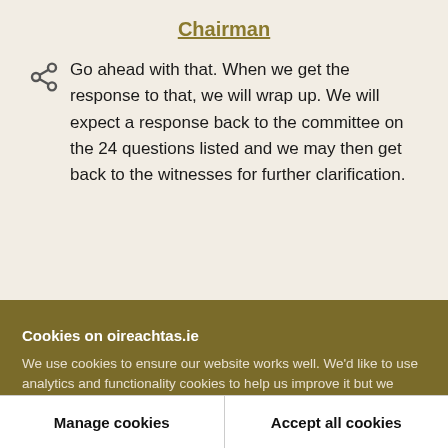Chairman
Go ahead with that. When we get the response to that, we will wrap up. We will expect a response back to the committee on the 24 questions listed and we may then get back to the witnesses for further clarification.
Cookies on oireachtas.ie
We use cookies to ensure our website works well. We'd like to use analytics and functionality cookies to help us improve it but we require your consent to do so. If you don't consent, only necessary cookies will be used. Read more about our cookies
Manage cookies
Accept all cookies